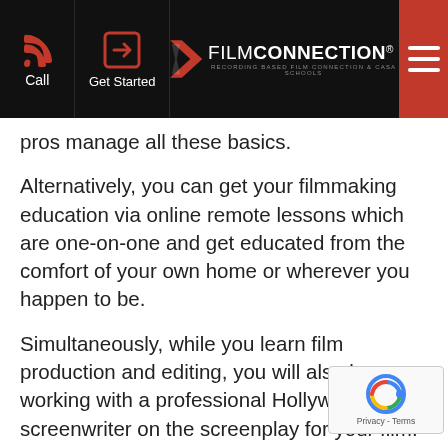Call | Get Started | FILM CONNECTION | (menu)
pros manage all these basics.
Alternatively, you can get your filmmaking education via online remote lessons which are one-on-one and get educated from the comfort of your own home or wherever you happen to be.
Simultaneously, while you learn film production and editing, you will also be working with a professional Hollywood screenwriter on the screenplay for your film. From your third lesson on you will be working on your film. You’ll be writing your screenplay, designing the look, the feel, locale, the crew, the cast of your master all with the idea of getting your pitch ready